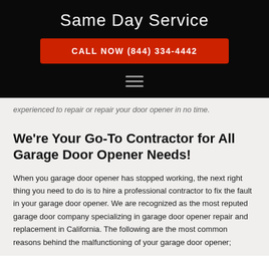Same Day Service
CALL NOW (844) 334-4442
experienced to repair or repair your door opener in no time.
We're Your Go-To Contractor for All Garage Door Opener Needs!
When you garage door opener has stopped working, the next right thing you need to do is to hire a professional contractor to fix the fault in your garage door opener. We are recognized as the most reputed garage door company specializing in garage door opener repair and replacement in California. The following are the most common reasons behind the malfunctioning of your garage door opener;